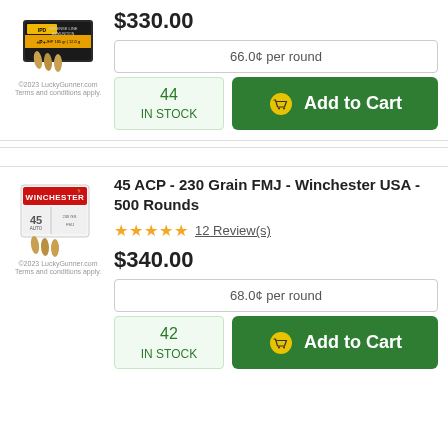$330.00
66.0¢ per round
44 IN STOCK
Add to Cart
45 ACP - 230 Grain FMJ - Winchester USA - 500 Rounds
12 Review(s)
$340.00
68.0¢ per round
42 IN STOCK
Add to Cart